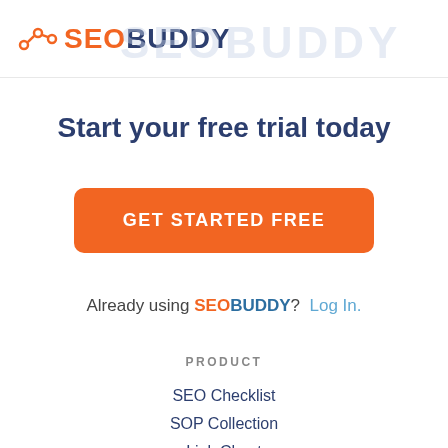[Figure (logo): SEO Buddy logo with orange graph icon and two-tone text: SEO in orange, BUDDY in dark blue]
Start your free trial today
GET STARTED FREE
Already using SEOBUDDY?  Log In.
PRODUCT
SEO Checklist
SOP Collection
Link Chest
Product Tour